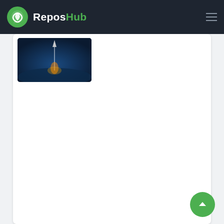ReposHub
[Figure (screenshot): Partially visible white card with a thumbnail image of a rocket/space scene on dark blue background]
Layout  ☆ 1.2k
A SwiftUI collection view with support for custom layouts, preloading, and more.
[Figure (logo): Yellow/olive colored grid-pattern logo icon on light background]
A SwiftUI collection view with support for custom layouts, preloading, and more.